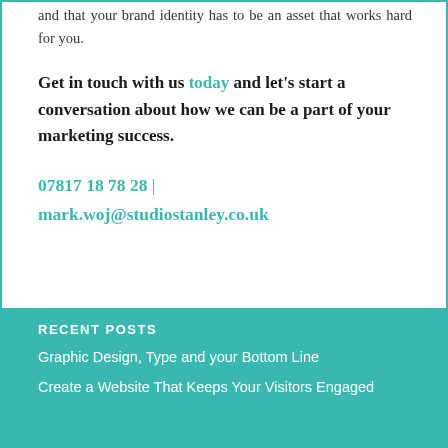and that your brand identity has to be an asset that works hard for you.
Get in touch with us today and let's start a conversation about how we can be a part of your marketing success.
07817 18 78 28 | mark.woj@studiostanley.co.uk
RECENT POSTS
Graphic Design, Type and your Bottom Line
Create a Website That Keeps Your Visitors Engaged